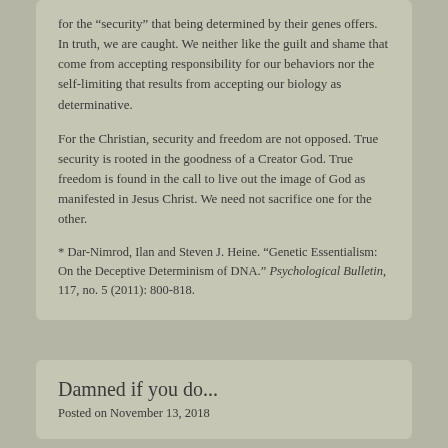for the “security” that being determined by their genes offers. In truth, we are caught. We neither like the guilt and shame that come from accepting responsibility for our behaviors nor the self-limiting that results from accepting our biology as determinative.
For the Christian, security and freedom are not opposed. True security is rooted in the goodness of a Creator God. True freedom is found in the call to live out the image of God as manifested in Jesus Christ. We need not sacrifice one for the other.
* Dar-Nimrod, Ilan and Steven J. Heine. “Genetic Essentialism: On the Deceptive Determinism of DNA.” Psychological Bulletin, 117, no. 5 (2011): 800-818.
Damned if you do...
Posted on November 13, 2018